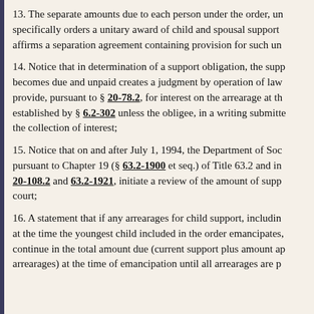13. The separate amounts due to each person under the order, unless the court specifically orders a unitary award of child and spousal support or the court affirms a separation agreement containing provision for such un...
14. Notice that in determination of a support obligation, the support that becomes due and unpaid creates a judgment by operation of law and the order shall provide, pursuant to § 20-78.2, for interest on the arrearage at the rate established by § 6.2-302 unless the obligee, in a writing submitted to the court, waives the collection of interest;
15. Notice that on and after July 1, 1994, the Department of Social Services may, pursuant to Chapter 19 (§ 63.2-1900 et seq.) of Title 63.2 and in accordance with §§ 20-108.2 and 63.2-1921, initiate a review of the amount of support ordered by the court;
16. A statement that if any arrearages for child support, including interest, exist at the time the youngest child included in the order emancipates, the order shall continue in the total amount due (current support plus amount applied to arrearages) at the time of emancipation until all arrearages are pa...